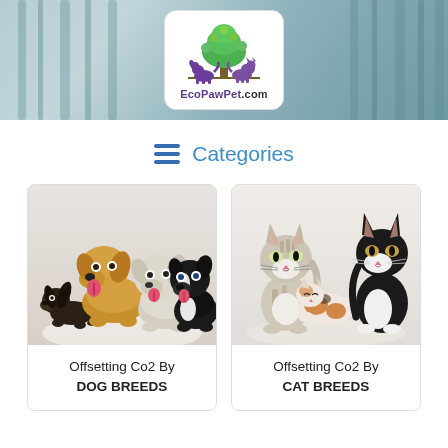[Figure (logo): EcoPawPet.com logo with a green tree and purple dog and cat silhouettes, inside a white rounded rectangle, overlaid on a teal/blue-grey forest background banner]
Categories
[Figure (photo): Photo of four dogs of different breeds grouped together (dachshund, golden retriever, terrier, border collie), inside a card labeled 'Offsetting Co2 By DOG BREEDS']
Offsetting Co2 By
DOG BREEDS
[Figure (photo): Photo of three kittens/cats grouped together (calico and black-and-white cats), inside a card labeled 'Offsetting Co2 By CAT BREEDS']
Offsetting Co2 By
CAT BREEDS